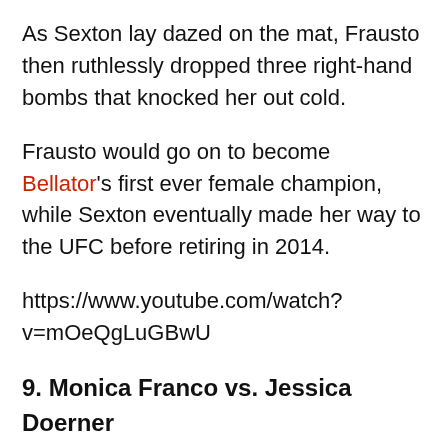As Sexton lay dazed on the mat, Frausto then ruthlessly dropped three right-hand bombs that knocked her out cold.
Frausto would go on to become Bellator's first ever female champion, while Sexton eventually made her way to the UFC before retiring in 2014.
https://www.youtube.com/watch?v=mOeQgLuGBwU
9. Monica Franco vs. Jessica Doerner
Having logged a 1-5 amateur record, nobody would have been expecting much from Monica Franco in her pro-debut against the more experienced Jessica